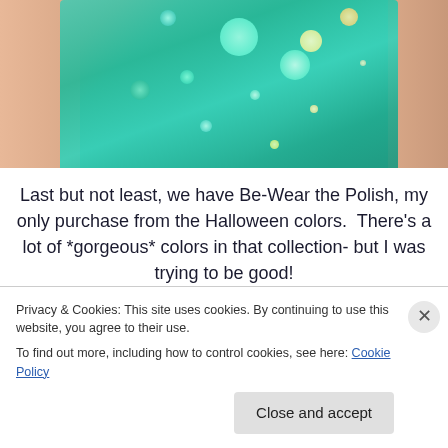[Figure (photo): Close-up photo of a hand holding a bottle of teal/green glitter nail polish with large and small holographic glitter circles visible inside the bottle]
Last but not least, we have Be-Wear the Polish, my only purchase from the Halloween colors.  There's a lot of *gorgeous* colors in that collection- but I was trying to be good!
Privacy & Cookies: This site uses cookies. By continuing to use this website, you agree to their use.
To find out more, including how to control cookies, see here: Cookie Policy